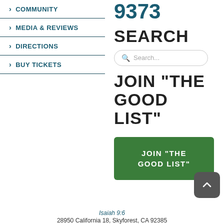> COMMUNITY
> MEDIA & REVIEWS
> DIRECTIONS
> BUY TICKETS
9373
SEARCH
Search...
JOIN “THE GOOD LIST”
JOIN “THE GOOD LIST”
Isaiah 9:6
28950 California 18, Skyforest, CA 92385